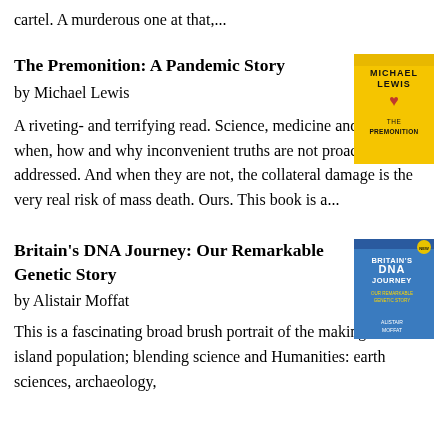cartel. A murderous one at that,...
The Premonition: A Pandemic Story
by Michael Lewis
[Figure (photo): Book cover of The Premonition by Michael Lewis - yellow cover with author name and heart symbol]
A riveting- and terrifying read. Science, medicine and politics - when, how and why inconvenient truths are not proactively addressed. And when they are not, the collateral damage is the very real risk of mass death. Ours. This book is a...
Britain's DNA Journey: Our Remarkable Genetic Story
by Alistair Moffat
[Figure (photo): Book cover of Britain's DNA Journey by Alistair Moffat - blue cover with title text]
This is a fascinating broad brush portrait of the making of an island population; blending science and Humanities: earth sciences, archaeology,